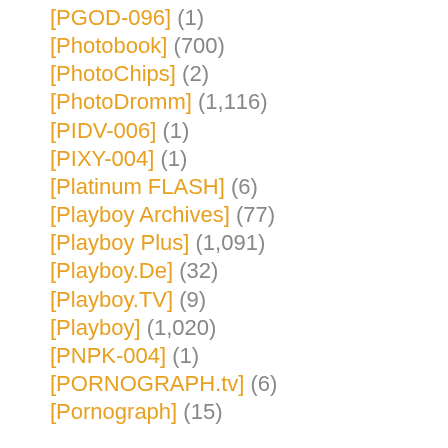[PGOD-096] (1)
[Photobook] (700)
[PhotoChips] (2)
[PhotoDromm] (1,116)
[PIDV-006] (1)
[PIXY-004] (1)
[Platinum FLASH] (6)
[Playboy Archives] (77)
[Playboy Plus] (1,091)
[Playboy.De] (32)
[Playboy.TV] (9)
[Playboy] (1,020)
[PNPK-004] (1)
[PORNOGRAPH.tv] (6)
[Pornograph] (15)